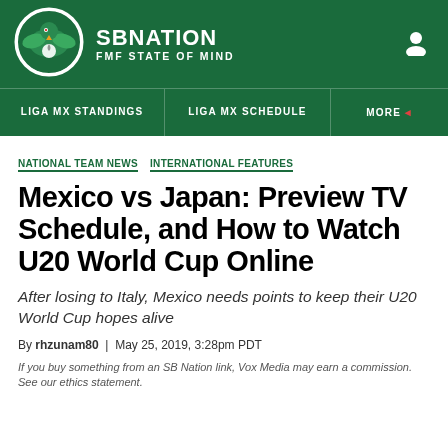[Figure (logo): SB Nation FMF State of Mind logo with eagle mascot in circular badge on dark green header]
SBNATION
FMF STATE OF MIND
LIGA MX STANDINGS  LIGA MX SCHEDULE  MORE
NATIONAL TEAM NEWS  INTERNATIONAL FEATURES
Mexico vs Japan: Preview TV Schedule, and How to Watch U20 World Cup Online
After losing to Italy, Mexico needs points to keep their U20 World Cup hopes alive
By rhzunam80 | May 25, 2019, 3:28pm PDT
If you buy something from an SB Nation link, Vox Media may earn a commission. See our ethics statement.